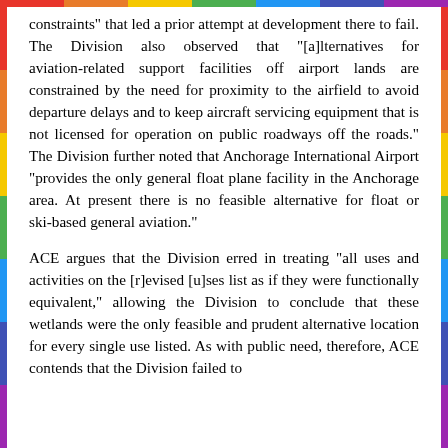constraints" that led a prior attempt at development there to fail. The Division also observed that "[a]lternatives for aviation-related support facilities off airport lands are constrained by the need for proximity to the airfield to avoid departure delays and to keep aircraft servicing equipment that is not licensed for operation on public roadways off the roads." The Division further noted that Anchorage International Airport "provides the only general float plane facility in the Anchorage area. At present there is no feasible alternative for float or ski-based general aviation."
ACE argues that the Division erred in treating "all uses and activities on the [r]evised [u]ses list as if they were functionally equivalent," allowing the Division to conclude that these wetlands were the only feasible and prudent alternative location for every single use listed. As with public need, therefore, ACE contends that the Division failed to